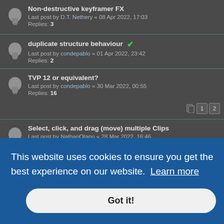Non-destructive keyframer FX
Last post by D.T. Nethery « 08 Apr 2022, 17:03
Replies: 3
duplicate structure behaviour ✓
Last post by condepablo « 01 Apr 2022, 23:42
Replies: 2
TVP 12 or equivalent?
Last post by condepablo « 30 Mar 2022, 00:55
Replies: 16
Select, click, and drag (move) multiple Clips
Last post by NathanOtano « 28 Mar 2022, 16:46
Replies: 1
empty frames
Last post by D.T. Nethery « 10 Mar 2022, 16:02
Replies: 26
Add current display/layer/brush to guideline image
Last post by ...
This website uses cookies to ensure you get the best experience on our website. Learn more
Got it!